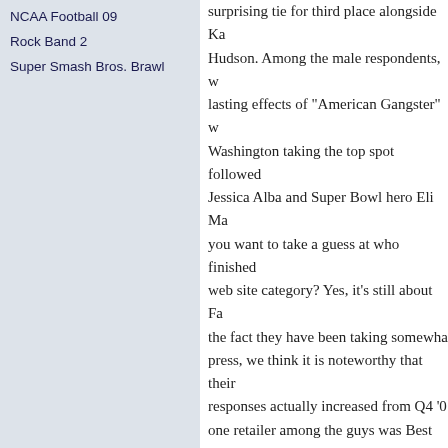NCAA Football 09
Rock Band 2
Super Smash Bros. Brawl
surprising tie for third place alongside Ka... Hudson. Among the male respondents, w... lasting effects of "American Gangster" w... Washington taking the top spot followed... Jessica Alba and Super Bowl hero Eli Ma... you want to take a guess at who finished... web site category? Yes, it's still about Fa... the fact they have been taking somewha... press, we think it is noteworthy that their... responses actually increased from Q4 '0... one retailer among the guys was Best Bu... out Wal-Mart, while the young women ch... overall favorite followed closely by Targe... Victoria's Secret.
February 27, 2008 in Culture | Permalink | Comm...
2008 Market Trends: Multic... Spreads its Wings of Influe...
One the unique chara... market is their diverse... make-up. Simply put...